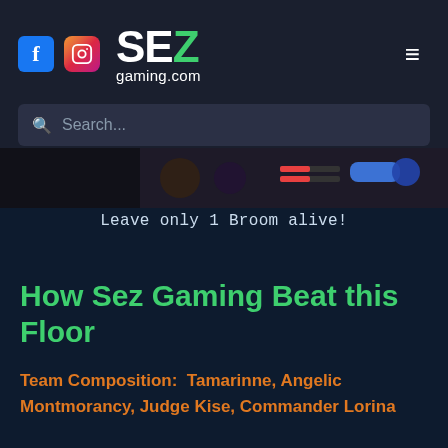SEZgaming.com
Search...
[Figure (screenshot): Game screenshot strip showing battle screen with characters and health bars]
Leave only 1 Broom alive!
How Sez Gaming Beat this Floor
Team Composition:  Tamarinne, Angelic Montmorancy, Judge Kise, Commander Lorina